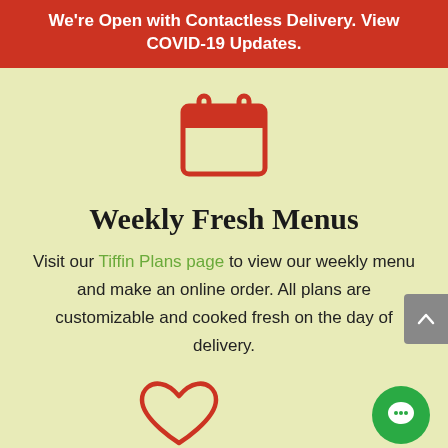We're Open with Contactless Delivery. View COVID-19 Updates.
[Figure (illustration): Red calendar icon]
Weekly Fresh Menus
Visit our Tiffin Plans page to view our weekly menu and make an online order. All plans are customizable and cooked fresh on the day of delivery.
[Figure (illustration): Red heart outline icon at bottom left and green chat bubble circle button at bottom right]